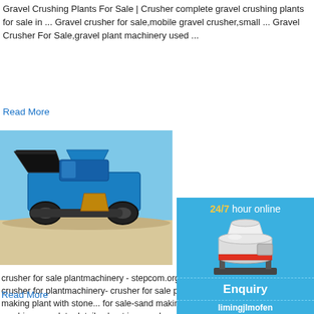Gravel Crushing Plants For Sale | Crusher complete gravel crushing plants for sale in ... Gravel crusher for sale,mobile gravel crusher,small ... Gravel Crusher For Sale,gravel plant machinery used ...
Read More
[Figure (photo): Photo of a blue mobile gravel crushing plant machine on a sandy/gravel surface with blue sky background]
crusher for sale plantmachinery - stepcom.org crusher for sale plantmachinery crusher for plantmachinery- crusher for sale plantmach... price for sale-sand making plant with stone... for sale-sand making plant with stone crush... machine,complete details about jaw crushe... nd making plant with stonecrushers for sale pl...
Read More
[Figure (infographic): Blue sidebar panel showing '24/7 hour online' in yellow and white text, a cone crusher machine illustration, a 'Click me to chat>>' button, an 'Enquiry' section, and 'limingjlmofen' text at bottom]